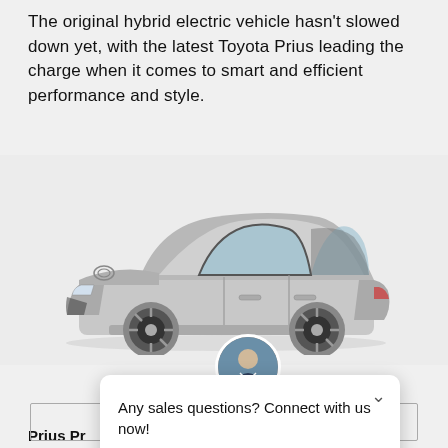The original hybrid electric vehicle hasn't slowed down yet, with the latest Toyota Prius leading the charge when it comes to smart and efficient performance and style.
[Figure (photo): Side profile photo of a silver Toyota Prius hybrid sedan on a light grey background]
[Figure (screenshot): Red button labeled EXPLORE MODEL with a chat popup overlay showing a salesperson avatar, the message 'Any sales questions? Connect with us now!' and two buttons: TEXT and CHAT]
Prius Pr